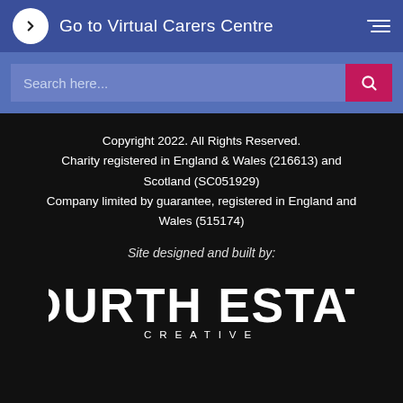Go to Virtual Carers Centre
Search here...
Copyright 2022. All Rights Reserved.
Charity registered in England & Wales (216613) and Scotland (SC051929)
Company limited by guarantee, registered in England and Wales (515174)
Site designed and built by:
[Figure (logo): Fourth Estate Creative logo — bold white uppercase text FOURTH ESTATE with CREATIVE in spaced capitals below]